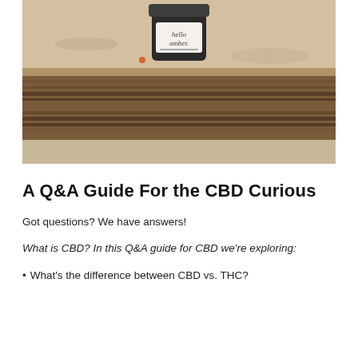[Figure (photo): A dark glass jar with a pink label reading 'hello amber.' sitting on a weathered driftwood log on a sandy beach]
A Q&A Guide For the CBD Curious
Got questions? We have answers!
What is CBD? In this Q&A guide for CBD we're exploring:
What's the difference between CBD vs. THC?